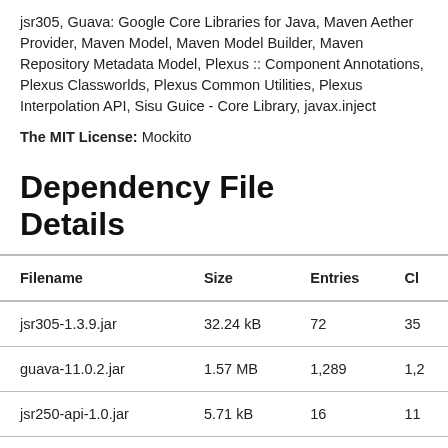jsr305, Guava: Google Core Libraries for Java, Maven Aether Provider, Maven Model, Maven Model Builder, Maven Repository Metadata Model, Plexus :: Component Annotations, Plexus Classworlds, Plexus Common Utilities, Plexus Interpolation API, Sisu Guice - Core Library, javax.inject
The MIT License: Mockito
Dependency File Details
| Filename | Size | Entries | Cl |
| --- | --- | --- | --- |
| jsr305-1.3.9.jar | 32.24 kB | 72 | 35 |
| guava-11.0.2.jar | 1.57 MB | 1,289 | 1,2 |
| jsr250-api-1.0.jar | 5.71 kB | 16 | 11 |